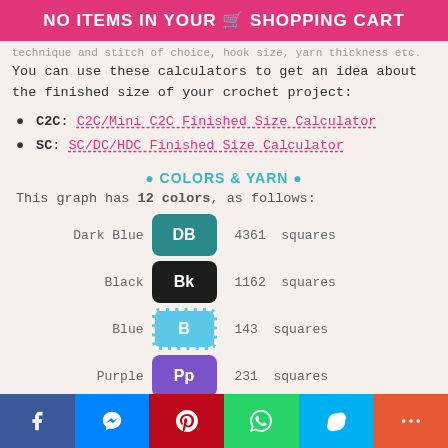NO ITEMS IN YOUR 🛒 SHOPPING CART
technique and stitch of choice, hook size, yarn thickness etc.
You can use these calculators to get an idea about the finished size of your crochet project:
● C2C: C2C/Mini C2C Finished Size Calculator
● SC: SC/DC/HDC Finished Size Calculator
● COLORS & YARN ●
This graph has 12 colors, as follows:
| Color Name | Badge | Count | Unit |
| --- | --- | --- | --- |
| Dark Blue | DB | 4361 | squares |
| Black | Bk | 1162 | squares |
| Blue | B | 143 | squares |
| Purple | Pp | 231 | squares |
| Yellow | Y | 92 | squares |
Facebook | Messenger | Pinterest | WhatsApp | Skype | More